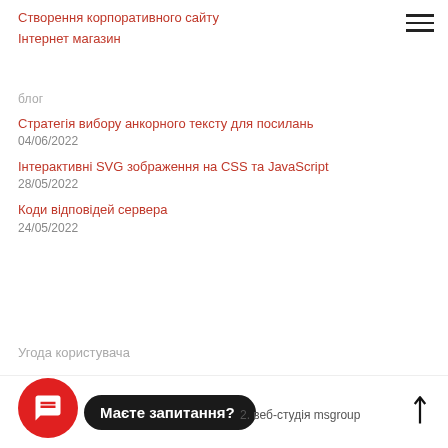Створення корпоративного сайту
Інтернет магазин
блог
Стратегія вибору анкорного тексту для посилань
04/06/2022
Інтерактивні SVG зображення на CSS та JavaScript
28/05/2022
Коди відповідей сервера
24/05/2022
Угода користувача
2. веб-студія msgroup